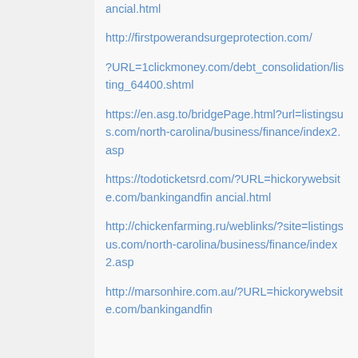ancial.html
http://firstpowerandsurgeprotection.com/
?URL=1clickmoney.com/debt_consolidation/listing_64400.shtml
https://en.asg.to/bridgePage.html?url=listingsus.com/north-carolina/business/finance/index2.asp
https://todoticketsrd.com/?URL=hickorywebsite.com/bankingandfin ancial.html
http://chickenfarming.ru/weblinks/?site=listingsus.com/north-carolina/business/finance/index2.asp
http://marsonhire.com.au/?URL=hickorywebsite.com/bankingandfin